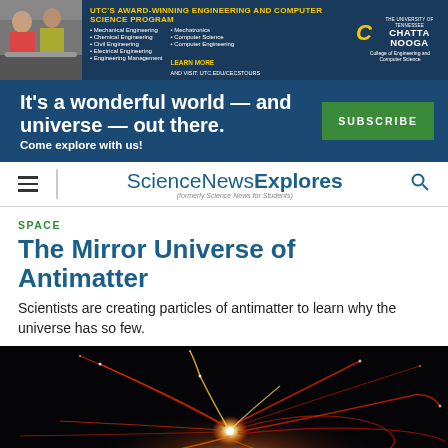[Figure (infographic): UTC Engineering and Computer Science program advertisement banner with photo of students, bullet list of programs, and University of Tennessee Chattanooga logo]
[Figure (infographic): Science News Explores subscription promotion banner with dark blue background, white bold text 'It's a wonderful world — and universe — out there. Come explore with us!' and green SUBSCRIBE button]
[Figure (logo): ScienceNewsExplores logo navigation bar with hamburger menu and search icon]
SPACE
The Mirror Universe of Antimatter
Scientists are creating particles of antimatter to learn why the universe has so few.
[Figure (photo): Dark photograph showing particle collision trails — red, orange and white streaks of light radiating outward from a central bright point against a black background, resembling a particle detector image]